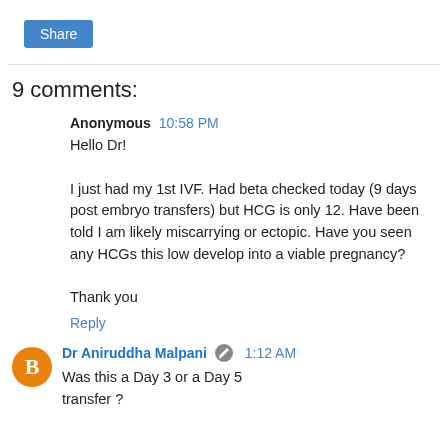[Figure (other): Share button (blue)]
9 comments:
Anonymous 10:58 PM
Hello Dr!

I just had my 1st IVF. Had beta checked today (9 days post embryo transfers) but HCG is only 12. Have been told I am likely miscarrying or ectopic. Have you seen any HCGs this low develop into a viable pregnancy?

Thank you
Reply
Dr Aniruddha Malpani 1:12 AM
Was this a Day 3 or a Day 5 transfer ?